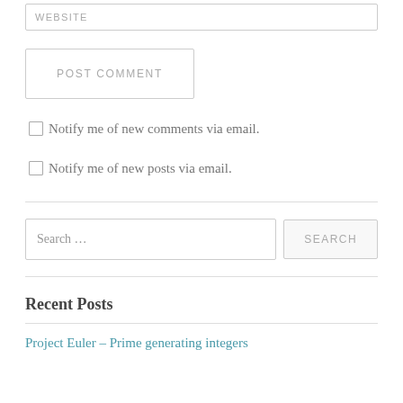WEBSITE
POST COMMENT
Notify me of new comments via email.
Notify me of new posts via email.
Search …
SEARCH
Recent Posts
Project Euler – Prime generating integers